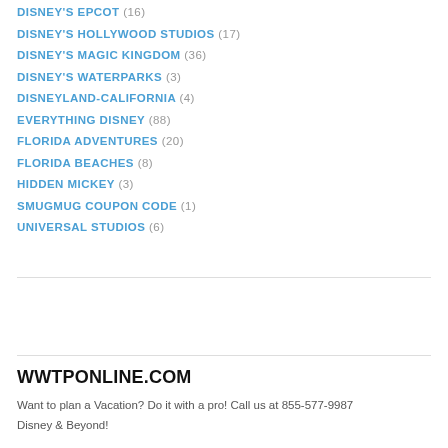DISNEY'S EPCOT (16)
DISNEY'S HOLLYWOOD STUDIOS (17)
DISNEY'S MAGIC KINGDOM (36)
DISNEY'S WATERPARKS (3)
DISNEYLAND-CALIFORNIA (4)
EVERYTHING DISNEY (88)
FLORIDA ADVENTURES (20)
FLORIDA BEACHES (8)
HIDDEN MICKEY (3)
SMUGMUG COUPON CODE (1)
UNIVERSAL STUDIOS (6)
WWTPONLINE.COM
Want to plan a Vacation? Do it with a pro! Call us at 855-577-9987
Disney & Beyond!